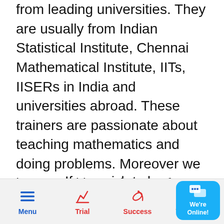from leading universities. They are usually from Indian Statistical Institute, Chennai Mathematical Institute, IITs, IISERs in India and universities abroad. These trainers are passionate about teaching mathematics and doing problems. Moreover we have weekly 4.5 hours of teacher training sessions. We take great pride in our faculty team.
If you wish to learn great mathematics, it is not necessary that you learn it
Menu  Trial  Success  Whatsapp  We're Online!